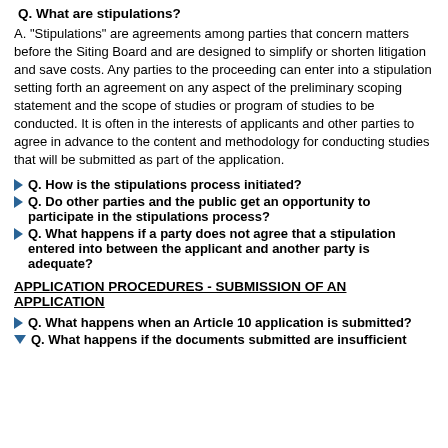Q. What are stipulations?
A. "Stipulations" are agreements among parties that concern matters before the Siting Board and are designed to simplify or shorten litigation and save costs. Any parties to the proceeding can enter into a stipulation setting forth an agreement on any aspect of the preliminary scoping statement and the scope of studies or program of studies to be conducted. It is often in the interests of applicants and other parties to agree in advance to the content and methodology for conducting studies that will be submitted as part of the application.
Q. How is the stipulations process initiated?
Q. Do other parties and the public get an opportunity to participate in the stipulations process?
Q. What happens if a party does not agree that a stipulation entered into between the applicant and another party is adequate?
APPLICATION PROCEDURES - SUBMISSION OF AN APPLICATION
Q. What happens when an Article 10 application is submitted?
Q. What happens if the documents submitted are insufficient